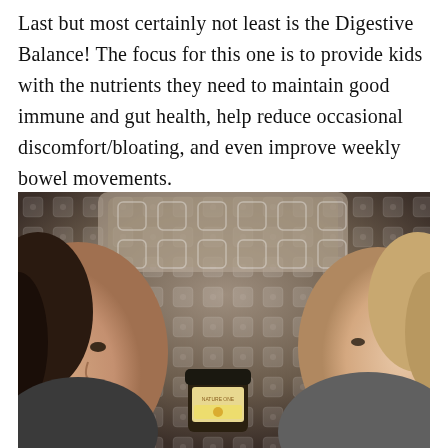Last but most certainly not least is the Digestive Balance! The focus for this one is to provide kids with the nutrients they need to maintain good immune and gut health, help reduce occasional discomfort/bloating, and even improve weekly bowel movements.
[Figure (photo): Two children looking down at a jar of supplement product held between them, sitting on a couch with a brown patterned fabric background. One child is on the left with dark hair, the other on the right with lighter hair.]